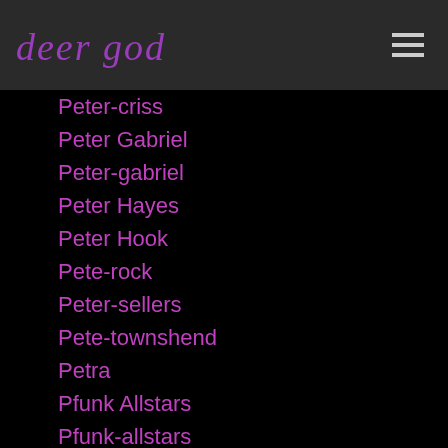deer god
Peter-criss
Peter Gabriel
Peter-gabriel
Peter Hayes
Peter Hook
Pete-rock
Peter-sellers
Pete-townshend
Petra
Pfunk Allstars
Pfunk-allstars
Phantogram
Pharcyde
Pharrell
Phife Dawg
Phife-dawg
Phil Anselmo